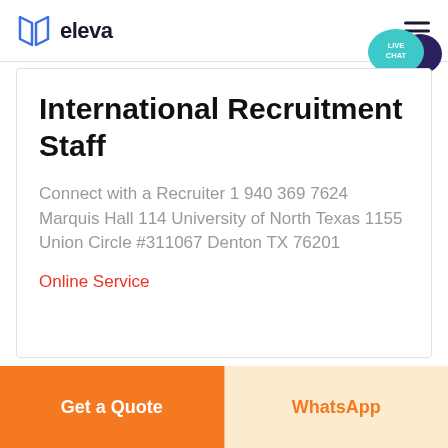eleva
International Recruitment Staff
Connect with a Recruiter 1 940 369 7624 Marquis Hall 114 University of North Texas 1155 Union Circle #311067 Denton TX 76201
Online Service
Get a Quote
WhatsApp